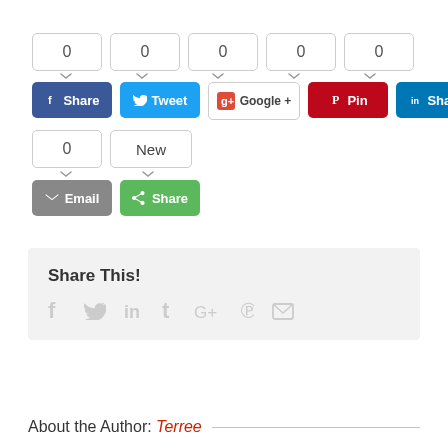[Figure (screenshot): Social share buttons widget with count boxes showing 0 for Facebook, Twitter, Google+, Pinterest, LinkedIn; second row with Email and generic Share buttons; below that a 'Share This!' section with social icons; and at the bottom an 'About the Author: Terree' section header with a decorative line.]